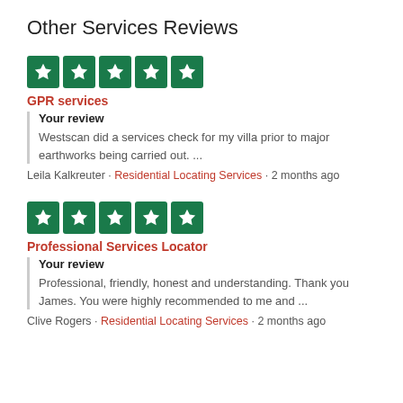Other Services Reviews
[Figure (other): Five green star rating boxes (5 stars)]
GPR services
Your review
Westscan did a services check for my villa prior to major earthworks being carried out. ...
Leila Kalkreuter · Residential Locating Services · 2 months ago
[Figure (other): Five green star rating boxes (5 stars)]
Professional Services Locator
Your review
Professional, friendly, honest and understanding. Thank you James. You were highly recommended to me and ...
Clive Rogers · Residential Locating Services · 2 months ago